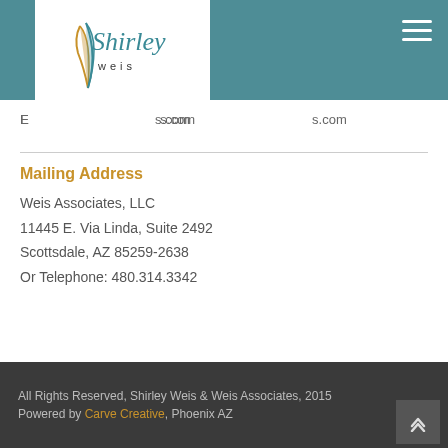[Figure (logo): Shirley Weis logo with stylized feather/leaf icon and script text 'Shirley weis']
Email: shirleyw@shirleyweis.com
Mailing Address
Weis Associates, LLC
11445 E. Via Linda, Suite 2492
Scottsdale, AZ 85259-2638
Or Telephone: 480.314.3342
All Rights Reserved, Shirley Weis & Weis Associates, 2015
Powered by Carve Creative, Phoenix AZ